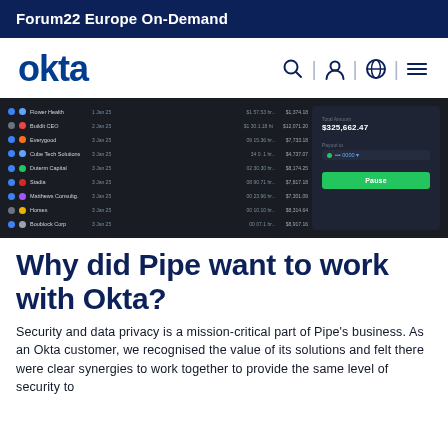Forum22 Europe On-Demand
[Figure (logo): Okta logo and navigation bar with search, user, globe, and menu icons]
[Figure (screenshot): Dark-themed web app dashboard screenshot showing a list of companies with financial data and a payment panel on the right with total amount $325,662.47, Pay to field, and a green Pause button]
Why did Pipe want to work with Okta?
Security and data privacy is a mission-critical part of Pipe's business. As an Okta customer, we recognised the value of its solutions and felt there were clear synergies to work together to provide the same level of security to